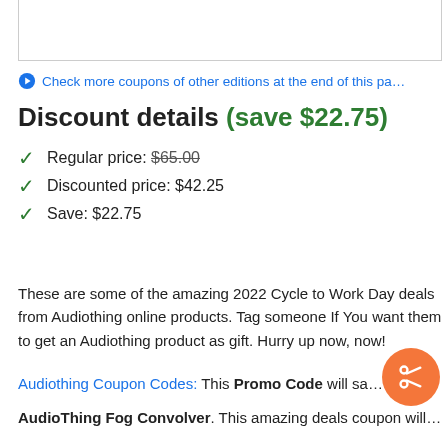Check more coupons of other editions at the end of this page
Discount details (save $22.75)
Regular price: $65.00
Discounted price: $42.25
Save: $22.75
These are some of the amazing 2022 Cycle to Work Day deals from Audiothing online products. Tag someone If You want them to get an Audiothing product as gift. Hurry up now, now!
Audiothing Coupon Codes: This Promo Code will save 35% on AudioThing Fog Convolver. This amazing deals coupon will...